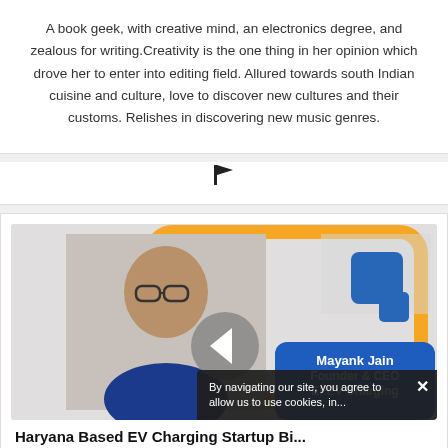A book geek, with creative mind, an electronics degree, and zealous for writing.Creativity is the one thing in her opinion which drove her to enter into editing field. Allured towards south Indian cuisine and culture, love to discover new cultures and their customs. Relishes in discovering new music genres.
[Figure (illustration): Black flag/bookmark icon]
[Figure (photo): Article thumbnail showing Mayank Jain, Founder & CEO, EFEV Charging, with a navigation left arrow overlay and decorative graphic elements. Text reads: Mayank Jain Founder & CEO EFEV Charging]
Haryana Based EV Charging Startup Bi...
By navigating our site, you agree to allow us to use cookies, in...
f  t  in  (whatsapp icon)  (telegram icon)